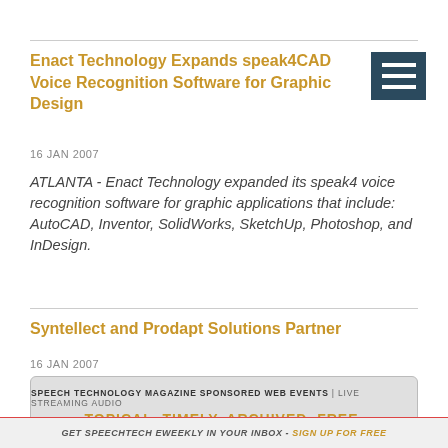Enact Technology Expands speak4CAD Voice Recognition Software for Graphic Design
16 JAN 2007
ATLANTA - Enact Technology expanded its speak4 voice recognition software for graphic applications that include: AutoCAD, Inventor, SolidWorks, SketchUp, Photoshop, and InDesign.
Syntellect and Prodapt Solutions Partner
16 JAN 2007
[Figure (other): Advertisement banner: SPEECH TECHNOLOGY MAGAZINE SPONSORED WEB EVENTS | LIVE STREAMING AUDIO — TOPICAL. TIMELY. ARCHIVED. FREE.]
GET SPEECHTECH EWEEKLY IN YOUR INBOX - SIGN UP FOR FREE